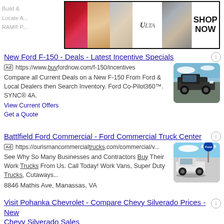[Figure (screenshot): Ulta Beauty banner advertisement with makeup images and SHOP NOW button]
Build &
Locate A...
RAM® P...
New Ford F-150 - Deals - Latest Incentive Specials
Ad https://www.buyfordnow.com/f-150/incentives
Compare all Current Deals on a New F-150 From Ford & Local Dealers then Search Inventory. Ford Co-Pilot360™. SYNC® 4A.
View Current Offers
Get a Quote
[Figure (photo): Dark Ford F-150 truck on rocky terrain]
Battlfield Ford Commercial - Ford Commercial Truck Center
Ad https://ourismancommercialtrucks.com/commercial/v...
See Why So Many Businesses and Contractors Buy Their Work Trucks From Us. Call Today! Work Vans, Super Duty Trucks, Cutaways...
8846 Mathis Ave, Manassas, VA
[Figure (photo): White Ford truck at commercial dealership with Ford logo sign]
Visit Pohanka Chevrolet - Compare Chevy Silverado Prices - New Chevy Silverado Sales